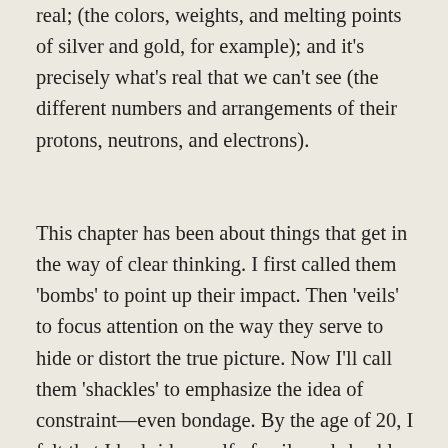real; (the colors, weights, and melting points of silver and gold, for example); and it's precisely what's real that we can't see (the different numbers and arrangements of their protons, neutrons, and electrons).
This chapter has been about things that get in the way of clear thinking. I first called them 'bombs' to point up their impact. Then 'veils' to focus attention on the way they serve to hide or distort the true picture. Now I'll call them 'shackles' to emphasize the idea of constraint—even bondage. By the age of 20, I felt that I had rid myself of veils and shackles. But 40 years later I found out that